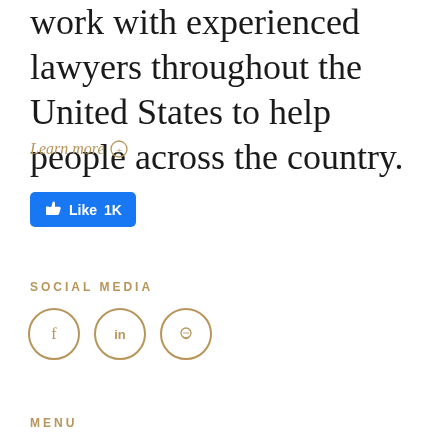work with experienced lawyers throughout the United States to help people across the country.
Learn more ⊕
[Figure (other): Facebook Like button showing 1K likes]
SOCIAL MEDIA
[Figure (other): Social media icons: Facebook, LinkedIn, WhatsApp in circular outlines]
MENU